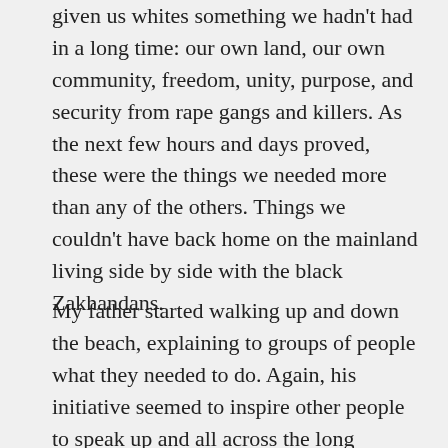given us whites something we hadn't had in a long time: our own land, our own community, freedom, unity, purpose, and security from rape gangs and killers. As the next few hours and days proved, these were the things we needed more than any of the others. Things we couldn't have back home on the mainland living side by side with the black Zakhandans.
My father started walking up and down the beach, explaining to groups of people what they needed to do. Again, his initiative seemed to inspire other people to speak up and all across the long coastline, tens of thousands of people divided themselves up into groups working on various projects. Thousands went